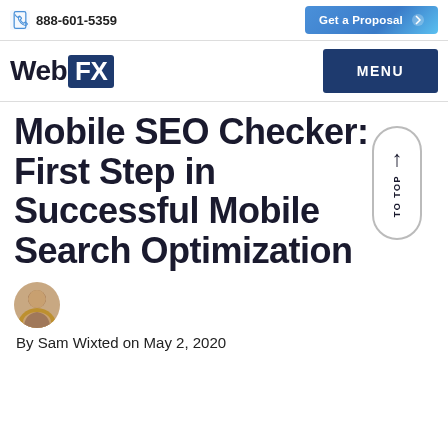888-601-5359 | Get a Proposal
[Figure (logo): WebFX logo with blue FX box and MENU button]
Mobile SEO Checker: First Step in Successful Mobile Search Optimization
By Sam Wixted on May 2, 2020